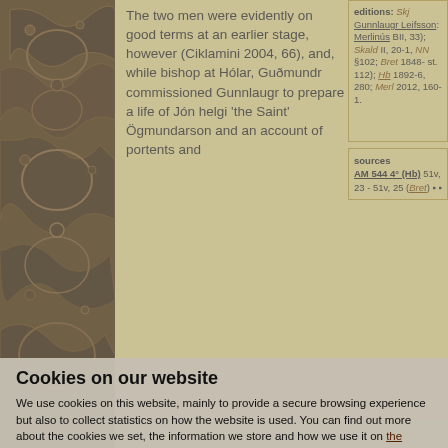[Figure (illustration): Decorative medieval manuscript-style ornamental panel with dark brown interlaced pattern on left side of page]
The two men were evidently on good terms at an earlier stage, however (Ciklamini 2004, 66), and, while bishop at Hólar, Guðmundr commissioned Gunnlaugr to prepare a life of Jón helgi 'the Saint' Ögmundarson and an account of portents and
editions: Skj Gunnlaugr Leifsson: Merlinús BII, 33); Skald II, 20-1, NN §102; Bret 1848- st. 112); Hb 1892-6, 280; Merl 2012, 160-1.
sources
AM 544 4° (Hb) 51v, 23 - 51v, 25 (Bret)
Cookies on our website
We use cookies on this website, mainly to provide a secure browsing experience but also to collect statistics on how the website is used. You can find out more about the cookies we set, the information we store and how we use it on the cookies page.
Continue